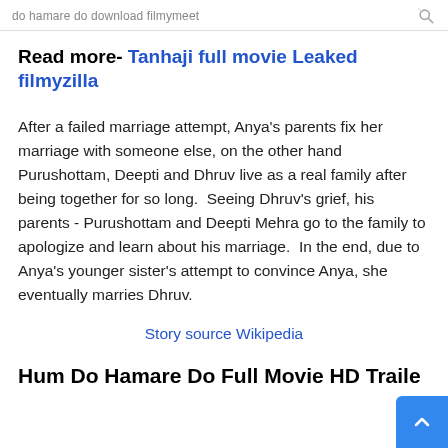do hamare do download filmymeet
Read more- Tanhaji full movie Leaked filmyzilla
After a failed marriage attempt, Anya's parents fix her marriage with someone else, on the other hand Purushottam, Deepti and Dhruv live as a real family after being together for so long.  Seeing Dhruv's grief, his parents - Purushottam and Deepti Mehra go to the family to apologize and learn about his marriage.  In the end, due to Anya's younger sister's attempt to convince Anya, she eventually marries Dhruv.
Story source Wikipedia
Hum Do Hamare Do Full Movie HD Traile